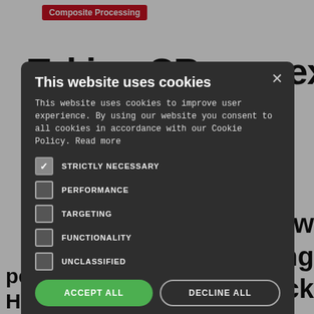Composite Processing
Taking CR... the next
zes a new
uring
edback
ection by
nology,
as
advanced
scalable
[Figure (screenshot): Cookie consent modal overlay on a dark semi-transparent background. Modal has title 'This website uses cookies', body text about cookie policy, checkboxes for STRICTLY NECESSARY (checked), PERFORMANCE, TARGETING, FUNCTIONALITY, UNCLASSIFIED. Buttons: ACCEPT ALL (green), DECLINE ALL (outlined). Show details link at bottom.]
performance materials. Headquartered in